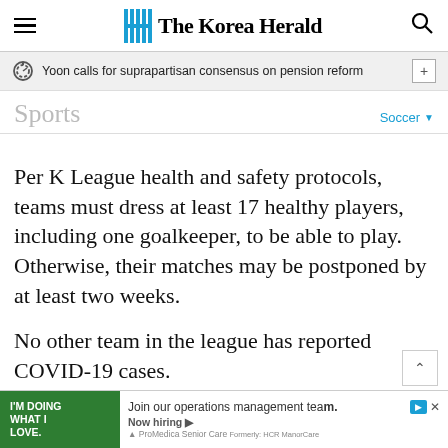The Korea Herald
Yoon calls for suprapartisan consensus on pension reform
Sports
Soccer
Per K League health and safety protocols, teams must dress at least 17 healthy players, including one goalkeeper, to be able to play. Otherwise, their matches may be postponed by at least two weeks.
No other team in the league has reported COVID-19 cases.
Elsewhere in the K League 1, five time
I'M DOING WHAT I LOVE. Join our operations management team. Now hiring ▶ ProMedica Senior Care